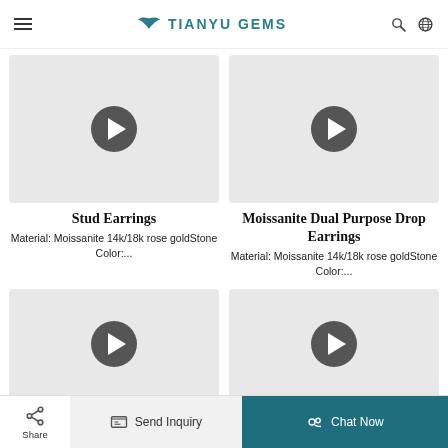TIANYU GEMS
[Figure (screenshot): Video thumbnail with play button for Stud Earrings product]
Stud Earrings
Material: Moissanite 14k/18k rose goldStone Color:...
[Figure (screenshot): Video thumbnail with play button for Moissanite Dual Purpose Drop Earrings product]
Moissanite Dual Purpose Drop Earrings
Material: Moissanite 14k/18k rose goldStone Color:...
[Figure (screenshot): Video thumbnail with play button for third product]
[Figure (screenshot): Video thumbnail with play button for fourth product]
Share | Send Inquiry | Chat Now